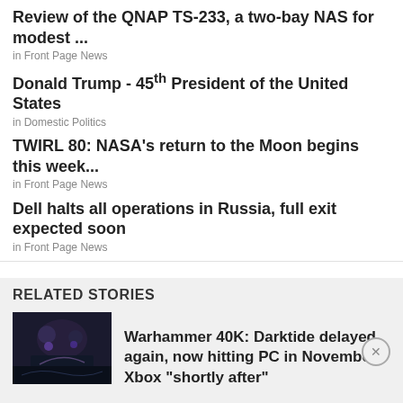Review of the QNAP TS-233, a two-bay NAS for modest ...
in Front Page News
Donald Trump - 45th President of the United States
in Domestic Politics
TWIRL 80: NASA's return to the Moon begins this week...
in Front Page News
Dell halts all operations in Russia, full exit expected soon
in Front Page News
RELATED STORIES
[Figure (photo): Dark sci-fi game screenshot for Warhammer 40K: Darktide]
Warhammer 40K: Darktide delayed again, now hitting PC in November Xbox "shortly after"
[Figure (infographic): Disney Bundle advertisement banner with Hulu, Disney+, ESPN+ logos and GET THE DISNEY BUNDLE call to action]